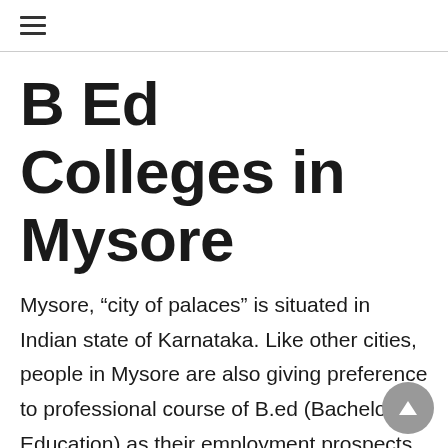≡
B Ed Colleges in Mysore
Mysore, “city of palaces” is situated in Indian state of Karnataka. Like other cities, people in Mysore are also giving preference to professional course of B.ed (Bachelor of Education) as their employment prospects. Higher educational Department or state universities of Karnataka every year conduct entrance test for those students who wants their academic career in field